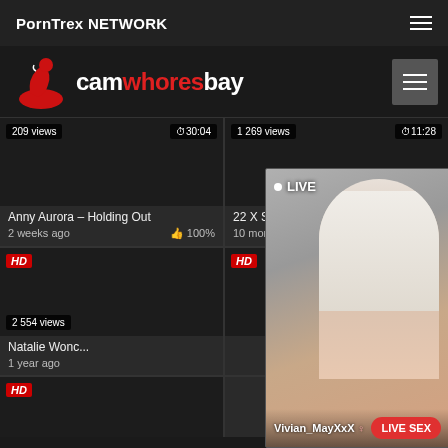PornTrex NETWORK
[Figure (logo): camwhoresbay logo with silhouette figure]
[Figure (screenshot): Video thumbnail - dark, 209 views, 30:04 duration, Anny Aurora - Holding Out, 2 weeks ago, 100% likes]
[Figure (screenshot): Video thumbnail - dark, 1 269 views, 11:28 duration, 22 X Sperma! Mega geil für, 10 months ago, 100% likes]
[Figure (screenshot): Video thumbnail HD - dark, 2 554 views, Natalie Wonc..., 1 year ago]
[Figure (screenshot): Video thumbnail HD - dark, bottom row]
[Figure (photo): Live overlay popup showing Vivian_MayXxX with LIVE SEX button]